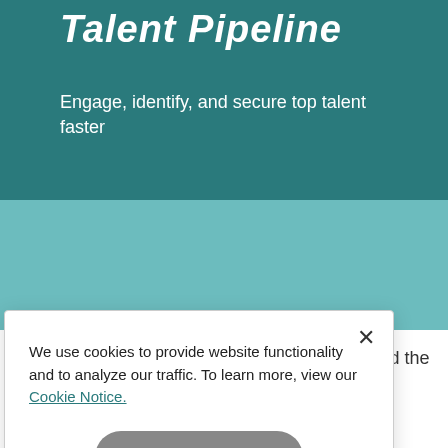Talent Pipeline
Engage, identify, and secure top talent faster
As a TA/HR leader you have the opportunity (and the
We use cookies to provide website functionality and to analyze our traffic. To learn more, view our Cookie Notice.
Accept All
Cookie Settings